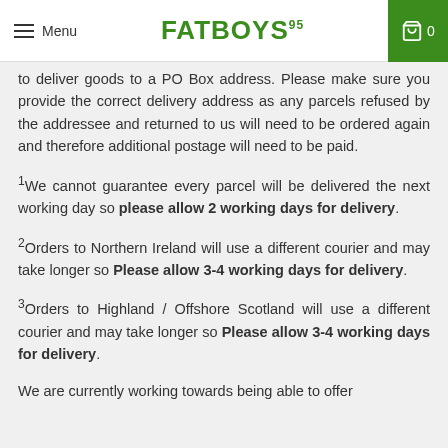Menu | FATBOYS95 | 0
to deliver goods to a PO Box address. Please make sure you provide the correct delivery address as any parcels refused by the addressee and returned to us will need to be ordered again and therefore additional postage will need to be paid.
1We cannot guarantee every parcel will be delivered the next working day so please allow 2 working days for delivery.
2Orders to Northern Ireland will use a different courier and may take longer so Please allow 3-4 working days for delivery.
3Orders to Highland / Offshore Scotland will use a different courier and may take longer so Please allow 3-4 working days for delivery.
We are currently working towards being able to offer